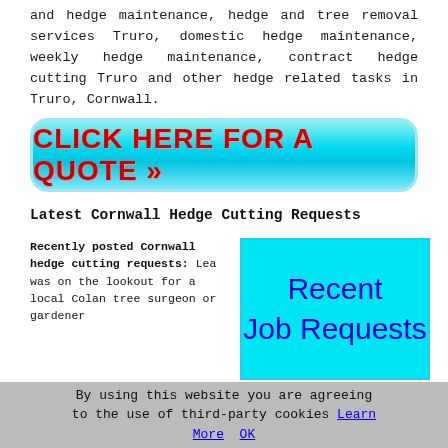and hedge maintenance, hedge and tree removal services Truro, domestic hedge maintenance, weekly hedge maintenance, contract hedge cutting Truro and other hedge related tasks in Truro, Cornwall.
[Figure (other): Cyan rounded-rectangle button with bold red uppercase text: CLICK HERE FOR A QUOTE >>]
Latest Cornwall Hedge Cutting Requests
Recently posted Cornwall hedge cutting requests: Lea was on the lookout for a local Colan tree surgeon or gardener
[Figure (other): Cyan box with text 'Recent Job Requests' in large blue font]
By using this website you are agreeing to the use of third-party cookies Learn More  OK